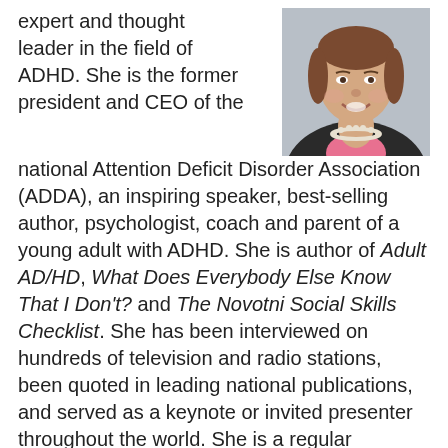[Figure (photo): Headshot of a smiling woman with short brown hair, wearing a pearl necklace and dark blazer over a pink top, against a light gray background.]
expert and thought leader in the field of ADHD. She is the former president and CEO of the national Attention Deficit Disorder Association (ADDA), an inspiring speaker, best-selling author, psychologist, coach and parent of a young adult with ADHD. She is author of Adult AD/HD, What Does Everybody Else Know That I Don't? and The Novotni Social Skills Checklist. She has been interviewed on hundreds of television and radio stations, been quoted in leading national publications, and served as a keynote or invited presenter throughout the world. She is a regular columnist for ADDitude Magazine.
Michele spearheaded the creation of national ADHD Awareness Day held annually in